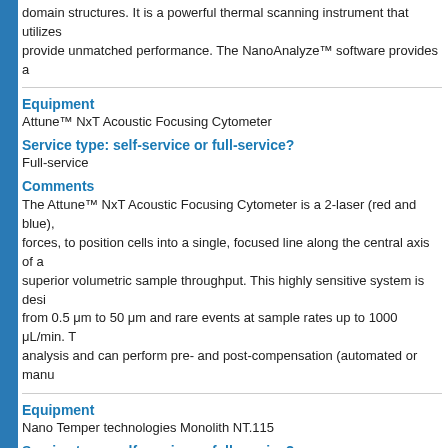domain structures. It is a powerful thermal scanning instrument that utilizes provide unmatched performance. The NanoAnalyze™ software provides a
Equipment
Attune™ NxT Acoustic Focusing Cytometer
Service type: self-service or full-service?
Full-service
Comments
The Attune™ NxT Acoustic Focusing Cytometer is a 2-laser (red and blue), forces, to position cells into a single, focused line along the central axis of a superior volumetric sample throughput. This highly sensitive system is desi from 0.5 μm to 50 μm and rare events at sample rates up to 1000 μL/min. T analysis and can perform pre- and post-compensation (automated or manu
Equipment
Nano Temper technologies Monolith NT.115
Service type: self-service or full-service?
Full-service